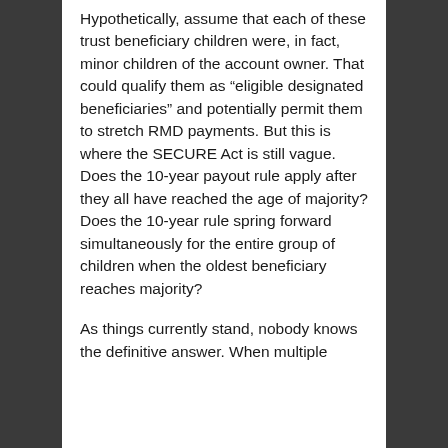Hypothetically, assume that each of these trust beneficiary children were, in fact, minor children of the account owner. That could qualify them as “eligible designated beneficiaries” and potentially permit them to stretch RMD payments. But this is where the SECURE Act is still vague. Does the 10-year payout rule apply after they all have reached the age of majority? Does the 10-year rule spring forward simultaneously for the entire group of children when the oldest beneficiary reaches majority?
As things currently stand, nobody knows the definitive answer. When multiple